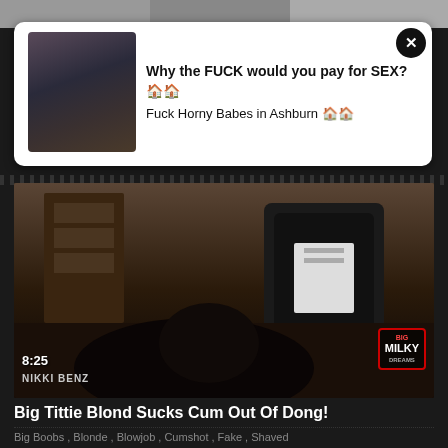[Figure (screenshot): Top strip showing partial video thumbnail in grayscale]
[Figure (screenshot): Advertisement popup overlay showing woman photo thumbnail with close button and text about paying for sex, Ashburn hookup ad]
Why the FUCK would you pay for SEX?🏠🏠
Fuck Horny Babes in Ashburn 🏠🏠
[Figure (screenshot): Main video thumbnail showing office scene with blonde woman in pink top and man, duration 8:25, Nikki Benz, Big Milky watermark]
Big Tittie Blond Sucks Cum Out Of Dong!
Big Boobs , Blonde , Blowjob , Cumshot , Fake , Shaved